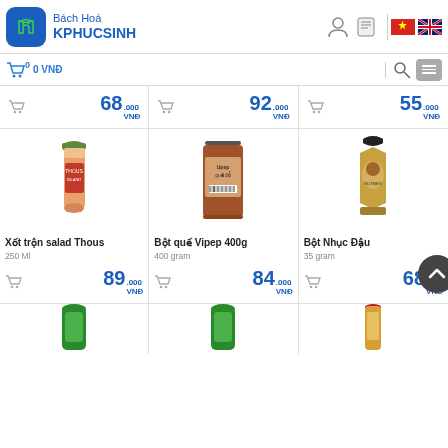Bách Hoá KPHUCSINH - 0 VNĐ
[Figure (screenshot): Partial product row showing prices 68.000 VNĐ, 92.000 VNĐ, 55.000 VNĐ]
[Figure (photo): Xốt trộn salad Thous 250ml bottle]
Xốt trộn salad Thous
250 Ml
89.000 VNĐ
[Figure (photo): Bột quế Vipep 400g jar]
Bột quế Vipep 400g
400 gram
84.000 VNĐ
[Figure (photo): Bột Nhục Đậu bottle 35g]
Bột Nhục Đậu
35 gram
68.000 VNĐ
[Figure (photo): Partial product thumbnails at bottom of page]